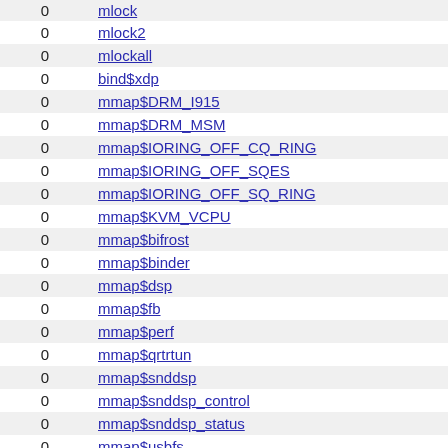| 0 | name |
| --- | --- |
| 0 | mlock |
| 0 | mlock2 |
| 0 | mlockall |
| 0 | bind$xdp |
| 0 | mmap$DRM_I915 |
| 0 | mmap$DRM_MSM |
| 0 | mmap$IORING_OFF_CQ_RING |
| 0 | mmap$IORING_OFF_SQES |
| 0 | mmap$IORING_OFF_SQ_RING |
| 0 | mmap$KVM_VCPU |
| 0 | mmap$bifrost |
| 0 | mmap$binder |
| 0 | mmap$dsp |
| 0 | mmap$fb |
| 0 | mmap$perf |
| 0 | mmap$qrtrtun |
| 0 | mmap$snddsp |
| 0 | mmap$snddsp_control |
| 0 | mmap$snddsp_status |
| 0 | mmap$usbfs |